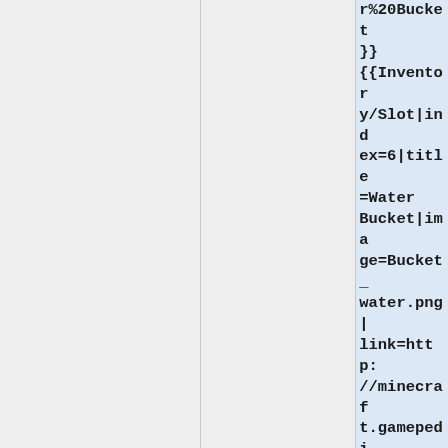r%20Bucket}}
{{Inventory/Slot|index=6|title=Water Bucket|image=Bucket_water.png|link=http://minecraft.gamepedia.com/Water%20Bucket}}
{{Inventory/Slot|index=7|title=Fuel|image=Fuel.png|link=List of